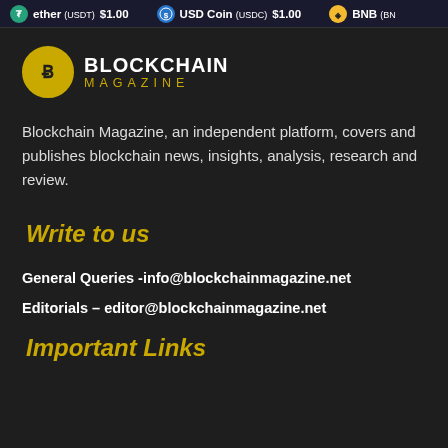Tether (USDT) $1.00   USD Coin (USDC) $1.00   BNB (BN...
[Figure (logo): Blockchain Magazine logo with golden circle icon and text BLOCKCHAIN MAGAZINE]
Blockchain Magazine, an independent platform, covers and publishes blockchain news, insights, analysis, research and review.
Write to us
General Queries -info@blockchainmagazine.net
Editorials – editor@blockchainmagazine.net
Important Links